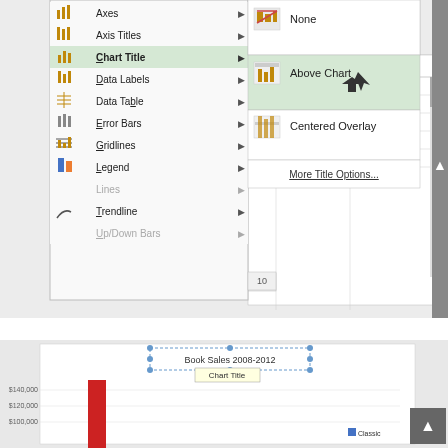[Figure (screenshot): Excel chart elements menu showing options: Axes, Axis Titles, Chart Title (highlighted with submenu open showing None, Above Chart, Centered Overlay, More Title Options...), Data Labels, Data Table, Error Bars, Gridlines, Legend, Lines (greyed), Trendline, Up/Down Bars (greyed). The Chart Title submenu shows 'Above Chart' highlighted. Background shows formula bar and spreadsheet grid area. Row number 10 visible.]
To edit a chart element, like a chart title, simply double-click the place holder and begin typing.
[Figure (screenshot): Excel chart showing 'Book Sales 2008-2012' with Chart Title tooltip visible. Y-axis shows $100,000, $120,000, $140,000. A red vertical bar is visible. Legend shows 'Classic' label.]